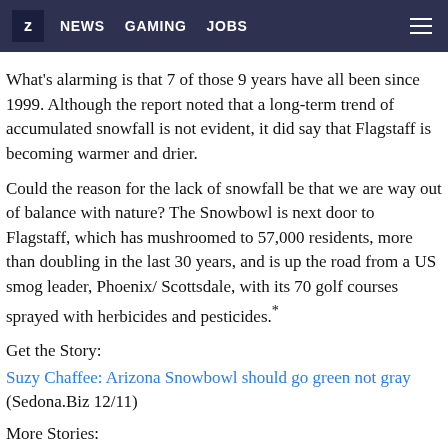Z NEWS GAMING JOBS
What's alarming is that 7 of those 9 years have all been since 1999. Although the report noted that a long-term trend of accumulated snowfall is not evident, it did say that Flagstaff is becoming warmer and drier.
Could the reason for the lack of snowfall be that we are way out of balance with nature? The Snowbowl is next door to Flagstaff, which has mushroomed to 57,000 residents, more than doubling in the last 30 years, and is up the road from a US smog leader, Phoenix/ Scottsdale, with its 70 golf courses sprayed with herbicides and pesticides.*
Get the Story:
Suzy Chaffee: Arizona Snowbowl should go green not gray
(Sedona.Biz 12/11)
More Stories:
Appeals court set to hear case over snowmaking at Ariz...